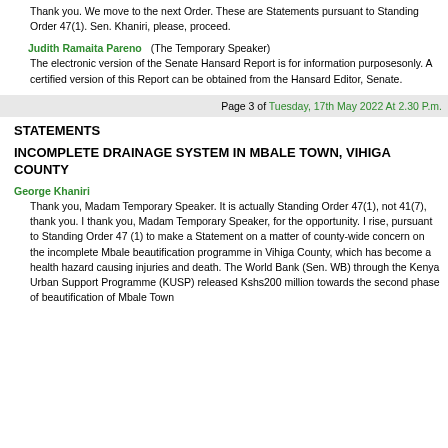Thank you. We move to the next Order. These are Statements pursuant to Standing Order 47(1). Sen. Khaniri, please, proceed.
Judith Ramaita Pareno (The Temporary Speaker)
The electronic version of the Senate Hansard Report is for information purposesonly. A certified version of this Report can be obtained from the Hansard Editor, Senate.
Page 3 of Tuesday, 17th May 2022 At 2.30 P.m.
STATEMENTS
INCOMPLETE DRAINAGE SYSTEM IN MBALE TOWN, VIHIGA COUNTY
George Khaniri
Thank you, Madam Temporary Speaker. It is actually Standing Order 47(1), not 41(7), thank you. I thank you, Madam Temporary Speaker, for the opportunity. I rise, pursuant to Standing Order 47 (1) to make a Statement on a matter of county-wide concern on the incomplete Mbale beautification programme in Vihiga County, which has become a health hazard causing injuries and death. The World Bank (Sen. WB) through the Kenya Urban Support Programme (KUSP) released Kshs200 million towards the second phase of beautification of Mbale Town